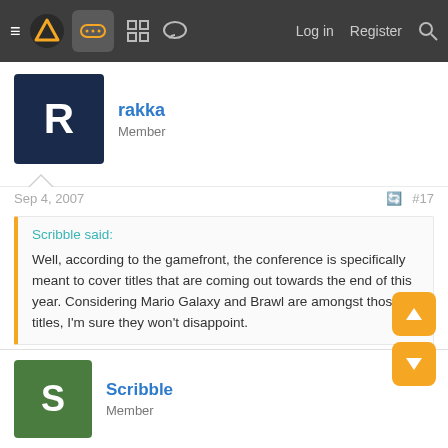≡  [logo]  [gamepad icon]  [grid icon]  [chat icon]    Log in   Register  [search]
rakka
Member
Sep 4, 2007   #17
Scribble said:
Well, according to the gamefront, the conference is specifically meant to cover titles that are coming out towards the end of this year. Considering Mario Galaxy and Brawl are amongst those titles, I'm sure they won't disappoint.
Brawl online confirmation would be nice.
Scribble
Member